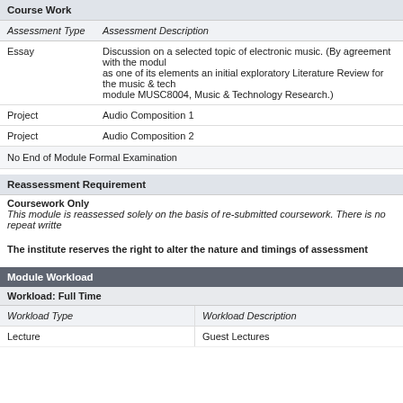| Course Work |  |
| --- | --- |
| Assessment Type | Assessment Description |
| Essay | Discussion on a selected topic of electronic music. (By agreement with the module as one of its elements an initial exploratory Literature Review for the music & tech module MUSC8004, Music & Technology Research.) |
| Project | Audio Composition 1 |
| Project | Audio Composition 2 |
No End of Module Formal Examination
| Reassessment Requirement |  |
| --- | --- |
| Coursework Only | This module is reassessed solely on the basis of re-submitted coursework. There is no repeat writte |
The institute reserves the right to alter the nature and timings of assessment
| Module Workload |  |
| --- | --- |
| Workload: Full Time |  |
| Workload Type | Workload Description |
| Lecture | Guest Lectures |